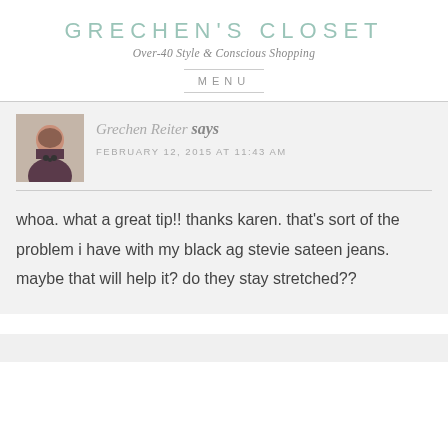GRECHEN'S CLOSET
Over-40 Style & Conscious Shopping
MENU
Grechen Reiter says
FEBRUARY 12, 2015 AT 11:43 AM
whoa. what a great tip!! thanks karen. that's sort of the problem i have with my black ag stevie sateen jeans. maybe that will help it? do they stay stretched??